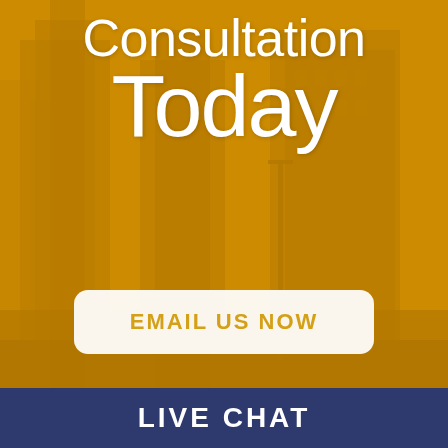[Figure (illustration): City skyline background with amber/golden color overlay showing tall skyscrapers and urban buildings]
Consultation Today
EMAIL US NOW
LIVE CHAT